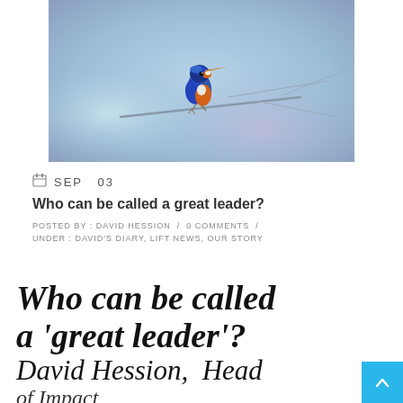[Figure (photo): A kingfisher bird perched on a thin branch against a blurred blue and purple background]
SEP  03
Who can be called a great leader?
POSTED BY : DAVID HESSION / 0 COMMENTS / UNDER : DAVID'S DIARY, LIFT NEWS, OUR STORY
Who can be called a 'great leader'? David Hession, Head of Impact